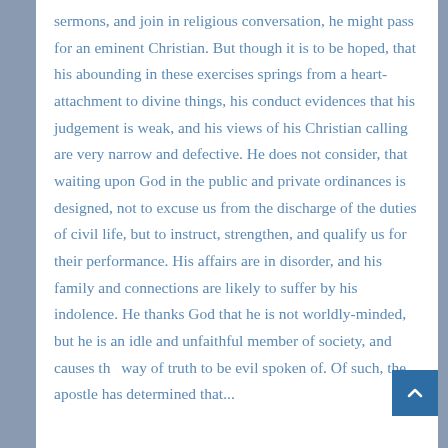sermons, and join in religious conversation, he might pass for an eminent Christian. But though it is to be hoped, that his abounding in these exercises springs from a heart-attachment to divine things, his conduct evidences that his judgement is weak, and his views of his Christian calling are very narrow and defective. He does not consider, that waiting upon God in the public and private ordinances is designed, not to excuse us from the discharge of the duties of civil life, but to instruct, strengthen, and qualify us for their performance. His affairs are in disorder, and his family and connections are likely to suffer by his indolence. He thanks God that he is not worldly-minded, but he is an idle and unfaithful member of society, and causes the way of truth to be evil spoken of. Of such, the apostle has determined that...